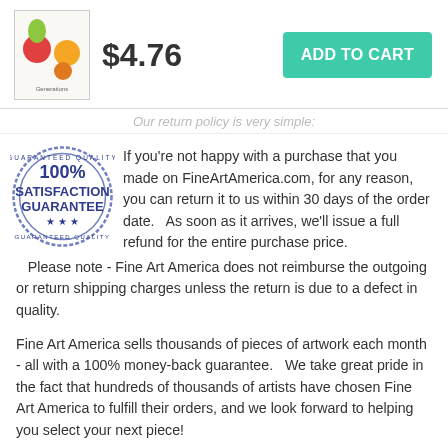[Figure (other): Product thumbnail image showing fruit illustration with text 'Generations']
$4.76
ADD TO CART
Our return policy is very simple:
[Figure (illustration): 100% Satisfaction Guarantee stamp/badge in blue]
If you're not happy with a purchase that you made on FineArtAmerica.com, for any reason, you can return it to us within 30 days of the order date.   As soon as it arrives, we'll issue a full refund for the entire purchase price.   Please note - Fine Art America does not reimburse the outgoing or return shipping charges unless the return is due to a defect in quality.
Fine Art America sells thousands of pieces of artwork each month - all with a 100% money-back guarantee.   We take great pride in the fact that hundreds of thousands of artists have chosen Fine Art America to fulfill their orders, and we look forward to helping you select your next piece!
DELIVERY